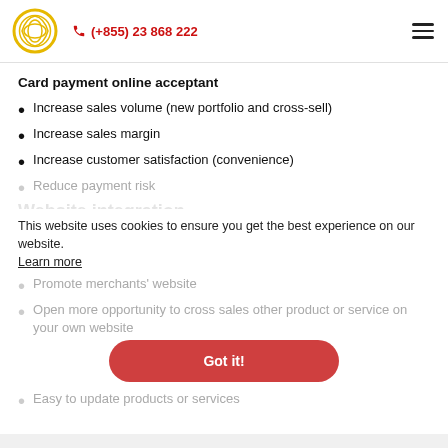(+855) 23 868 222
Card payment online acceptant
Increase sales volume (new portfolio and cross-sell)
Increase sales margin
Increase customer satisfaction (convenience)
Reduce payment risk
Website integration
This website uses cookies to ensure you get the best experience on our website. Learn more
Promote merchants' website
Open more opportunity to cross sales other product or service on your own website
Easy to update products or services